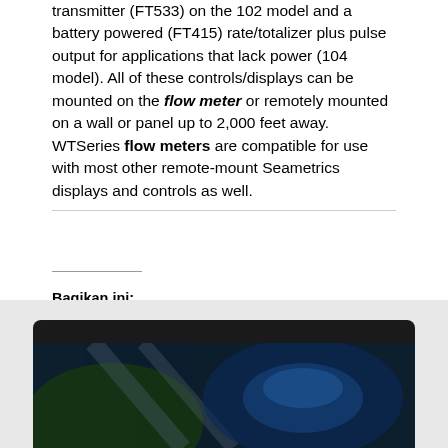transmitter (FT533) on the 102 model and a battery powered (FT415) rate/totalizer plus pulse output for applications that lack power (104 model). All of these controls/displays can be mounted on the flow meter or remotely mounted on a wall or panel up to 2,000 feet away. WTSeries flow meters are compatible for use with most other remote-mount Seametrics displays and controls as well.
Bagikan ini:
[Figure (illustration): Twitter and Facebook share icons (cyan and blue circular buttons with white bird and f logos)]
[Figure (screenshot): Dark video frame thumbnail with green and blue tinted imagery at the bottom of the page]